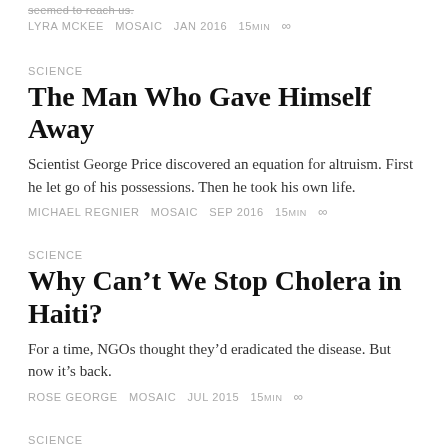seemed to reach us.
LYRA MCKEE  MOSAIC  JAN 2016  15MIN  ∞
SCIENCE
The Man Who Gave Himself Away
Scientist George Price discovered an equation for altruism. First he let go of his possessions. Then he took his own life.
MICHAEL REGNIER  MOSAIC  SEP 2016  15MIN  ∞
SCIENCE
Why Can't We Stop Cholera in Haiti?
For a time, NGOs thought they'd eradicated the disease. But now it's back.
ROSE GEORGE  MOSAIC  JUL 2015  15MIN  ∞
SCIENCE